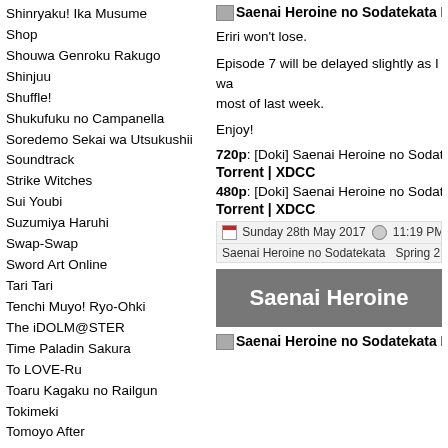Shinryaku! Ika Musume
Shop
Shouwa Genroku Rakugo Shinjuu
Shuffle!
Shukufuku no Campanella
Soredemo Sekai wa Utsukushii
Soundtrack
Strike Witches
Sui Youbi
Suzumiya Haruhi
Swap-Swap
Sword Art Online
Tari Tari
Tenchi Muyo! Ryo-Ohki
The iDOLM@STER
Time Paladin Sakura
To LOVE-Ru
Toaru Kagaku no Railgun
Tokimeki
Tomoyo After
Tonari no Totoro
Toradora!
Touhou
Towa no Quon
Trinity Seven
True Tears
Tsukushi Mates
UN-GO
Usagi Drop
Visual Novel
Wake Up, Girls!
Wizard Barristers
Saenai Heroine no Sodatekata Flat -
Eriri won't lose.
Episode 7 will be delayed slightly as I was most of last week.
Enjoy!
720p: [Doki] Saenai Heroine no Sodateka
Torrent | XDCC
480p: [Doki] Saenai Heroine no Sodateka
Torrent | XDCC
Sunday 28th May 2017  11:19 PM  al
Saenai Heroine no Sodatekata  Spring 2
[Figure (screenshot): Gray banner with white bold text reading 'Saenai Heroine']
Saenai Heroine no Sodatekata Flat -